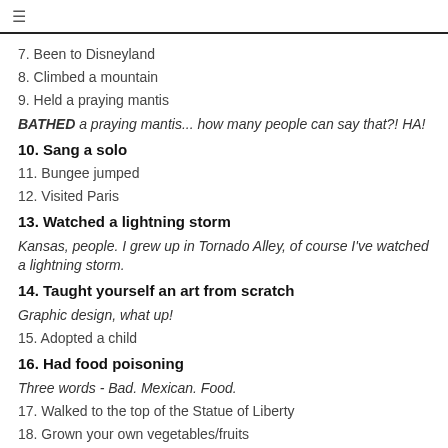≡
7. Been to Disneyland
8. Climbed a mountain
9. Held a praying mantis
BATHED a praying mantis... how many people can say that?! HA!
10. Sang a solo
11. Bungee jumped
12. Visited Paris
13. Watched a lightning storm
Kansas, people. I grew up in Tornado Alley, of course I've watched a lightning storm.
14. Taught yourself an art from scratch
Graphic design, what up!
15. Adopted a child
16. Had food poisoning
Three words - Bad. Mexican. Food.
17. Walked to the top of the Statue of Liberty
18. Grown your own vegetables/fruits